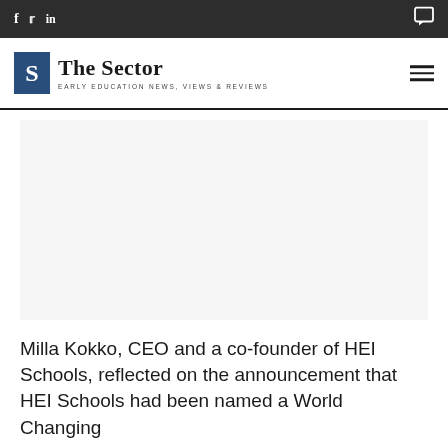f  twitter  in  [comment icon]
[Figure (logo): The Sector logo — blue S box with 'The Sector' text and tagline 'Early Education News, Views & Reviews']
[Figure (photo): Large content image placeholder (article image, not loaded)]
Milla Kokko, CEO and a co-founder of HEI Schools, reflected on the announcement that HEI Schools had been named a World Changing